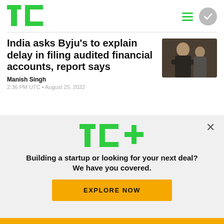TechCrunch logo, hamburger menu, circle button
India asks Byju’s to explain delay in filing audited financial accounts, report says
Manish Singh
2:36 PM UTC • August 25, 2022
[Figure (photo): Photo of two people, one in a black polo shirt with arms crossed]
[Figure (logo): TC+ logo in green with plus sign in green]
Building a startup or looking for your next deal? We have you covered.
EXPLORE NOW